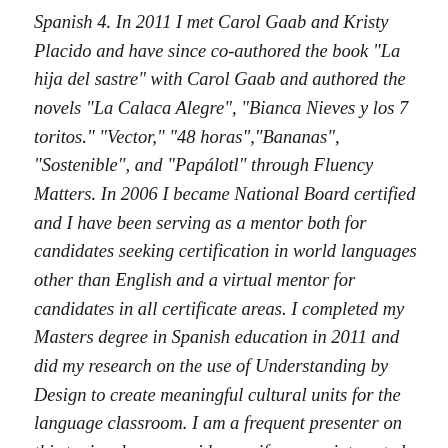Spanish 4. In 2011 I met Carol Gaab and Kristy Placido and have since co-authored the book "La hija del sastre" with Carol Gaab and authored the novels "La Calaca Alegre", "Bianca Nieves y los 7 toritos." "Vector," "48 horas","Bananas", "Sostenible", and "Papálotl" through Fluency Matters. In 2006 I became National Board certified and I have been serving as a mentor both for candidates seeking certification in world languages other than English and a virtual mentor for candidates in all certificate areas. I completed my Masters degree in Spanish education in 2011 and did my research on the use of Understanding by Design to create meaningful cultural units for the language classroom. I am a frequent presenter on this topic, please consider me if you are interested in a workshop